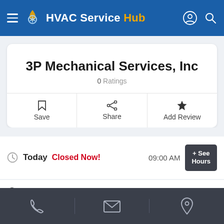HVAC Service Hub
3P Mechanical Services, Inc
0 Ratings
Save
Share
Add Review
Today  Closed Now!  09:00 AM  + See Hours
Coral Springs, FL
Phone | Email | Location